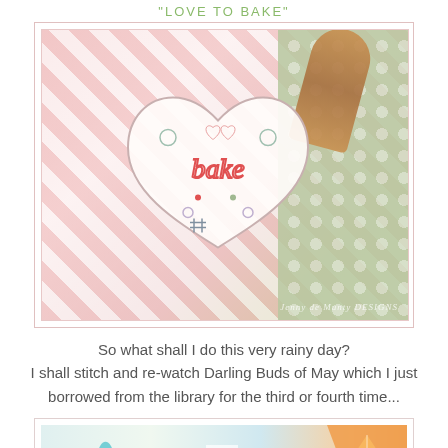"LOVE TO BAKE"
[Figure (photo): Photo of a heart-shaped embroidery piece with decorative stitching showing 'bake' text, placed on pink gingham fabric with a green polka dot fabric and wooden spoon in the background. Watermark reads 'Jenny de Munty DESIGNS'.]
So what shall I do this very rainy day?
I shall stitch and re-watch Darling Buds of May which I just borrowed from the library for the third or fourth time...
[Figure (photo): Partial photo showing crafting/stitching supplies including a daisy/flower, a clear bag, the letter D, and what appears to be an orange fruit slice on the right edge.]